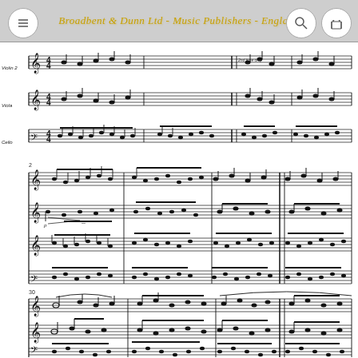Broadbent & Dunn Ltd - Music Publishers - England
[Figure (illustration): Sheet music page showing three systems of musical notation for string ensemble (Violin 2, Viola, Cello), with multiple staves, clefs, time signatures, notes, bar lines, and measure numbers. Publisher header: Broadbent & Dunn Ltd - Music Publishers - England.]